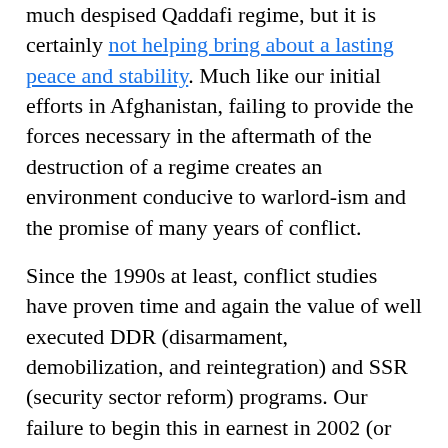much despised Qaddafi regime, but it is certainly not helping bring about a lasting peace and stability. Much like our initial efforts in Afghanistan, failing to provide the forces necessary in the aftermath of the destruction of a regime creates an environment conducive to warlord-ism and the promise of many years of conflict.
Since the 1990s at least, conflict studies have proven time and again the value of well executed DDR (disarmament, demobilization, and reintegration) and SSR (security sector reform) programs. Our failure to begin this in earnest in 2002 (or really up to at least 2005!) in Afghanistan and our failure to do it now in Libya is exacerbating the security situation where the internationally-recognized government has very limited control over its own territory. Did we expect that these militias, that we supported with weapons (in some cases) and effective air support, to simply integrate themselves into the state or to return to their peaceful lives in the interest of democracy and human rights? Our planning for both Libya and Afghanistan suggest that we did expect that even if it sounds profoundly stupid when stated this directly. But without adequate intervention forces (military, police, civil) on the ground to provide security and to direct and lead DDR...